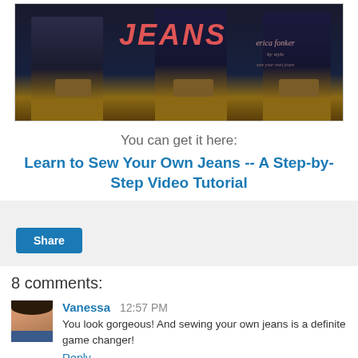[Figure (photo): Banner image showing women in dark jeans and heels with the text JEANS in red italic letters and a script logo on the right side]
You can get it here:
Learn to Sew Your Own Jeans -- A Step-by-Step Video Tutorial
[Figure (other): Social sharing widget area with a Share button]
8 comments:
Vanessa  12:57 PM
You look gorgeous! And sewing your own jeans is a definite game changer!
Reply